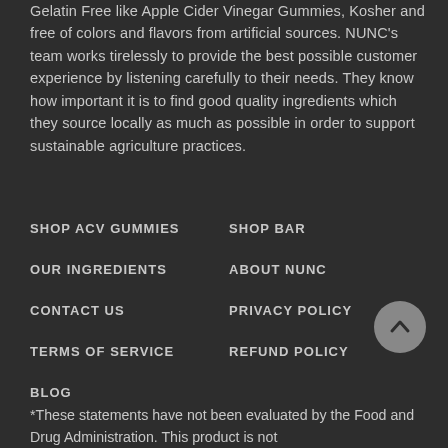Gelatin Free like Apple Cider Vinegar Gummies, Kosher and free of colors and flavors from artificial sources. NUNC's team works tirelessly to provide the best possible customer experience by listening carefully to their needs. They know how important it is to find good quality ingredients which they source locally as much as possible in order to support sustainable agriculture practices.
SHOP ACV GUMMIES
SHOP BAR
OUR INGREDIENTS
ABOUT NUNC
CONTACT US
PRIVACY POLICY
TERMS OF SERVICE
REFUND POLICY
BLOG
[Figure (illustration): Back to top arrow button - circular grey button with upward chevron]
*These statements have not been evaluated by the Food and Drug Administration. This product is not